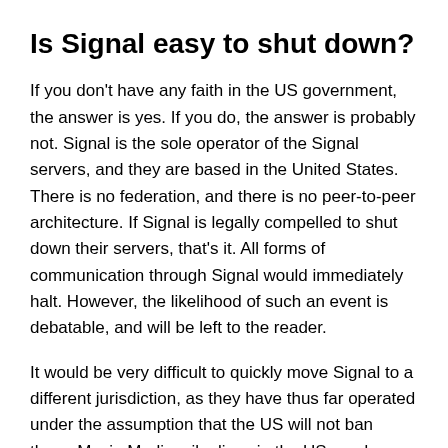Is Signal easy to shut down?
If you don't have any faith in the US government, the answer is yes. If you do, the answer is probably not. Signal is the sole operator of the Signal servers, and they are based in the United States. There is no federation, and there is no peer-to-peer architecture. If Signal is legally compelled to shut down their servers, that's it. All forms of communication through Signal would immediately halt. However, the likelihood of such an event is debatable, and will be left to the reader.
It would be very difficult to quickly move Signal to a different jurisdiction, as they have thus far operated under the assumption that the US will not ban them. Moxie Marlinspike lives in the US, as does the overwhelming majority of Signal's employees, and their only two legal entities were incorporated in the US. In